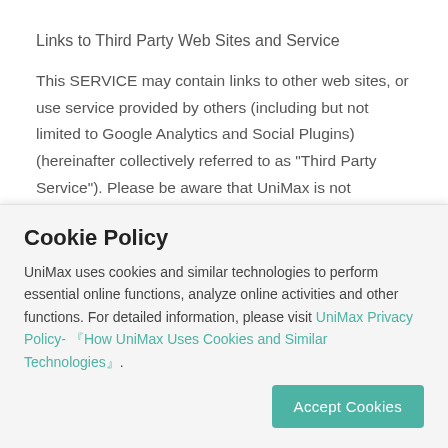Links to Third Party Web Sites and Service
This SERVICE may contain links to other web sites, or use service provided by others (including but not limited to Google Analytics and Social Plugins) (hereinafter collectively referred to as “Third Party Service”). Please be aware that UniMax is not responsible for the security or the privacy practices of
Cookie Policy
UniMax uses cookies and similar technologies to perform essential online functions, analyze online activities and other functions. For detailed information, please visit UniMax Privacy Policy- 『How UniMax Uses Cookies and Similar Technologies』.